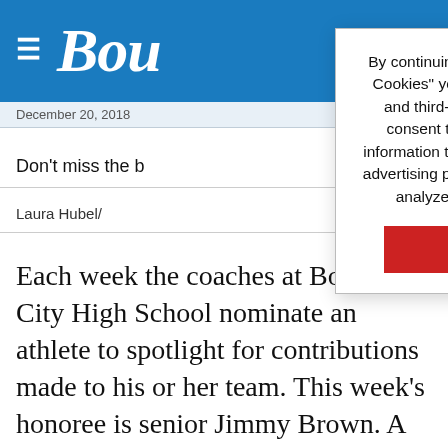Bou
December 20, 2018
Don't miss the b
Laura Hubel/
[Figure (screenshot): Cookie consent banner overlay: 'By continuing to browse or by clicking "I Accept Cookies" you agree to the storing of first-party and third-party cookies on your device and consent to the disclosure of your personal information to our third party service providers or advertising partners to optimize your experience, analyze traffic and personalize content.' with a red 'I Accept Cookies' button.]
Each week the coaches at Boulder City High School nominate an athlete to spotlight for contributions made to his or her team. This week's honoree is senior Jimmy Brown. A member of the varsity wrestling team, he placed first in the Boulder City Duals, pinning all 11 of his opponents. He also placed first in the Jimmy Hamada La Costa